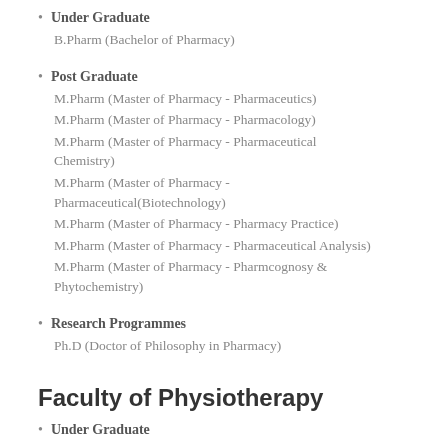Under Graduate
B.Pharm (Bachelor of Pharmacy)
Post Graduate
M.Pharm (Master of Pharmacy - Pharmaceutics)
M.Pharm (Master of Pharmacy - Pharmacology)
M.Pharm (Master of Pharmacy - Pharmaceutical Chemistry)
M.Pharm (Master of Pharmacy - Pharmaceutical(Biotechnology)
M.Pharm (Master of Pharmacy - Pharmacy Practice)
M.Pharm (Master of Pharmacy - Pharmaceutical Analysis)
M.Pharm (Master of Pharmacy - Pharmcognosy & Phytochemistry)
Research Programmes
Ph.D (Doctor of Philosophy in Pharmacy)
Faculty of Physiotherapy
Under Graduate